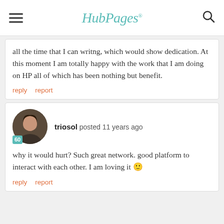HubPages
all the time that I can writng, which would show dedication. At this moment I am totally happy with the work that I am doing on HP all of which has been nothing but benefit.
reply   report
triosol posted 11 years ago
why it would hurt? Such great network. good platform to interact with each other. I am loving it 🙂
reply   report